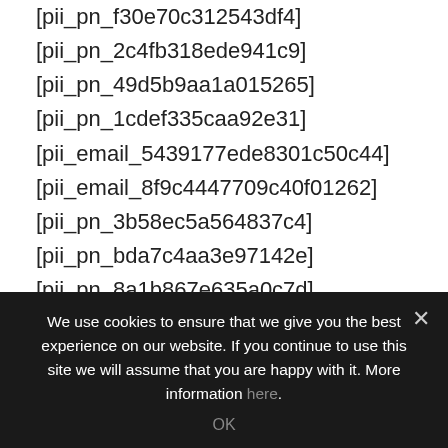[pii_pn_f30e70c312543df4]
[pii_pn_2c4fb318ede941c9]
[pii_pn_49d5b9aa1a015265]
[pii_pn_1cdef335caa92e31]
[pii_email_5439177ede8301c50c44]
[pii_email_8f9c4447709c40f01262]
[pii_pn_3b58ec5a564837c4]
[pii_pn_bda7c4aa3e97142e]
[pii_pn_8a1b867e635a0c7d]
[pii_pn_1e88d323809247a2]
[pii_pn_26f5938b2e47aead]
[pii_pn_c72803f3965db158]
We use cookies to ensure that we give you the best experience on our website. If you continue to use this site we will assume that you are happy with it. More information here.
OK